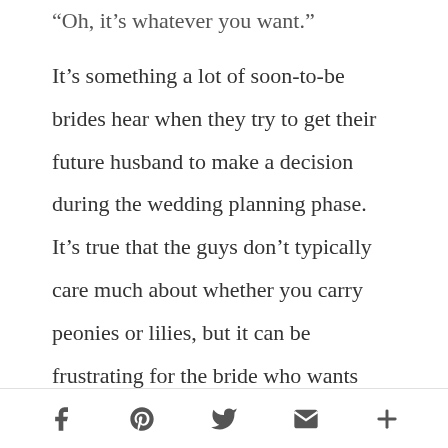“Oh, it’s whatever you want.”
It’s something a lot of soon-to-be brides hear when they try to get their future husband to make a decision during the wedding planning phase. It’s true that the guys don’t typically care much about whether you carry peonies or lilies, but it can be frustrating for the bride who wants
Social share icons: Facebook, Pinterest, Twitter, Email, More